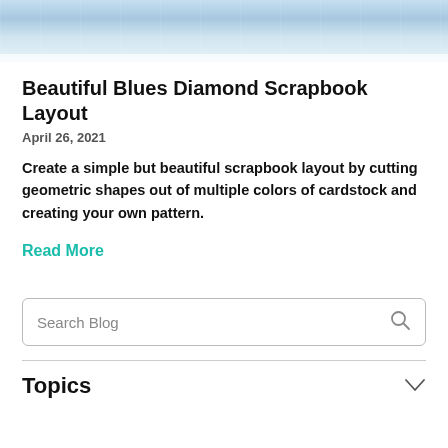[Figure (photo): Cropped top portion of a scrapbook layout photo featuring blue and white decorative elements on a light background.]
Beautiful Blues Diamond Scrapbook Layout
April 26, 2021
Create a simple but beautiful scrapbook layout by cutting geometric shapes out of multiple colors of cardstock and creating your own pattern.
Read More
Search Blog
Topics